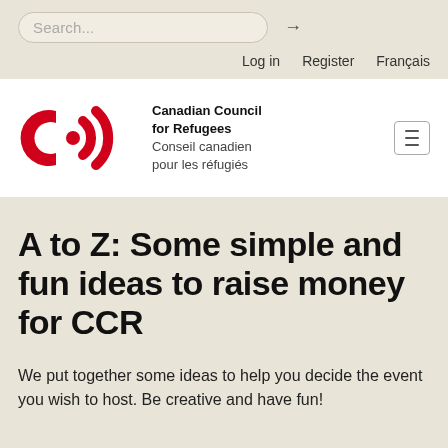Search...
Log in  Register  Français
[Figure (logo): Canadian Council for Refugees (CCR) logo — red stylized CC letters with dot and arc symbol, with bilingual text: Canadian Council for Refugees / Conseil canadien pour les réfugiés]
A to Z: Some simple and fun ideas to raise money for CCR
We put together some ideas to help you decide the event you wish to host. Be creative and have fun!